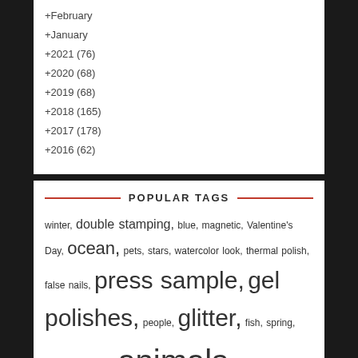+February
+January
+2021 (76)
+2020 (68)
+2019 (68)
+2018 (165)
+2017 (178)
+2016 (62)
POPULAR TAGS
winter, double stamping, blue, magnetic, Valentine's Day, ocean, pets, stars, watercolor look, thermal polish, false nails, press sample, gel polishes, people, glitter, fish, spring, Christmas, cats, animals, pantone, lettering, hearts, holographic, fantasy, birds, reverse nail stamping, green, nail decoration,